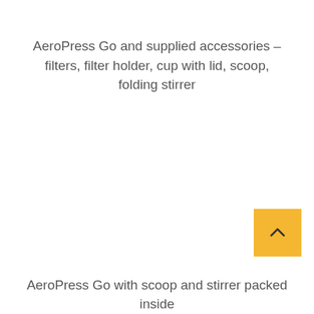AeroPress Go and supplied accessories – filters, filter holder, cup with lid, scoop, folding stirrer
[Figure (other): Yellow scroll-to-top button with upward chevron arrow icon]
AeroPress Go with scoop and stirrer packed inside